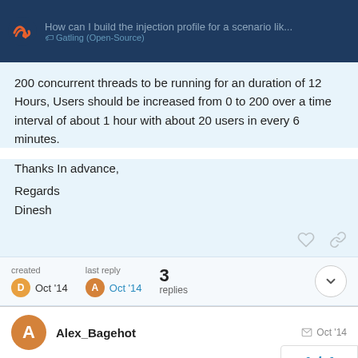How can I build the injection profile for a scenario lik... | Gatling (Open-Source)
200 concurrent threads to be running for an duration of 12 Hours, Users should be increased from 0 to 200 over a time interval of about 1 hour with about 20 users in every 6 minutes.
Thanks In advance,

Regards
Dinesh
created Oct '14   last reply Oct '14   3 replies
Alex_Bagehot   Oct '14
Hi Dinesh,
1 / 4